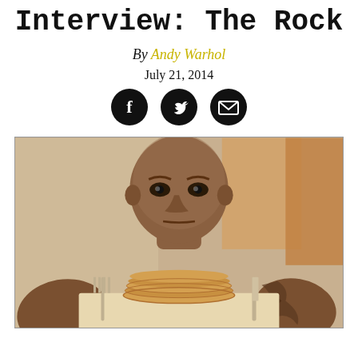Interview: The Rock
By Andy Warhol
July 21, 2014
[Figure (other): Three circular social media share icons: Facebook (f), Twitter (bird), and Email (envelope), black circles with white symbols]
[Figure (photo): Photo of Dwayne 'The Rock' Johnson, a muscular bald man with tattoos wearing a black tank top, sitting at a table in front of a stack of pancakes with a fork and knife visible on either side. He is staring intensely at the camera.]